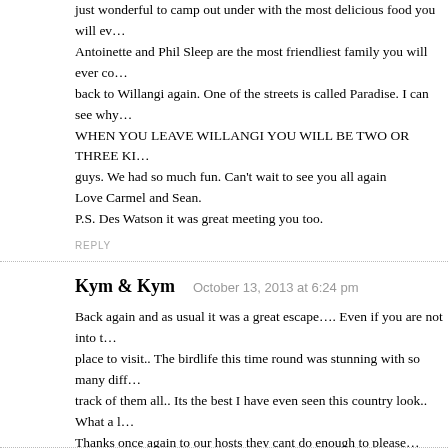just wonderful to camp out under with the most delicious food you will ev... Antoinette and Phil Sleep are the most friendliest family you will ever co... back to Willangi again. One of the streets is called Paradise. I can see why... WHEN YOU LEAVE WILLANGI YOU WILL BE TWO OR THREE KI... guys. We had so much fun. Can't wait to see you all again
Love Carmel and Sean.
P.S. Des Watson it was great meeting you too.
REPLY
Kym & Kym   October 13, 2013 at 6:24 pm
Back again and as usual it was a great escape…. Even if you are not into t... place to visit.. The birdlife this time round was stunning with so many diff... track of them all.. Its the best I have even seen this country look.. What a l... Thanks once again to our hosts they cant do enough to please…
Outstanding…
REPLY